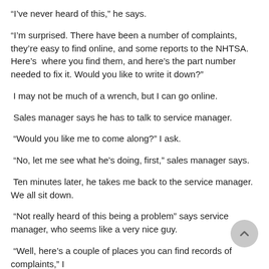“I’ve never heard of this,” he says.
“I’m surprised. There have been a number of complaints, they’re easy to find online, and some reports to the NHTSA. Here’s  where you find them, and here’s the part number needed to fix it. Would you like to write it down?”
I may not be much of a wrench, but I can go online.
Sales manager says he has to talk to service manager.
“Would you like me to come along?” I ask.
“No, let me see what he’s doing, first,” sales manager says.
Ten minutes later, he takes me back to the service manager. We all sit down.
“Not really heard of this being a problem” says service manager, who seems like a very nice guy.
“Well, here’s a couple of places you can find records of complaints,” I